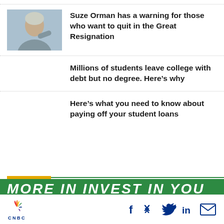[Figure (photo): Photo of Suze Orman gesturing, blue background]
Suze Orman has a warning for those who want to quit in the Great Resignation
Millions of students leave college with debt but no degree. Here’s why
Here’s what you need to know about paying off your student loans
CNBC | Facebook Twitter LinkedIn Email